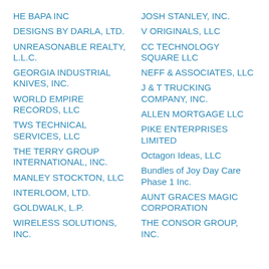HE BAPA INC
DESIGNS BY DARLA, LTD.
UNREASONABLE REALTY, L.L.C.
GEORGIA INDUSTRIAL KNIVES, INC.
WORLD EMPIRE RECORDS, LLC
TWS TECHNICAL SERVICES, LLC
THE TERRY GROUP INTERNATIONAL, INC.
MANLEY STOCKTON, LLC
INTERLOOM, LTD.
GOLDWALK, L.P.
WIRELESS SOLUTIONS, INC.
JOSH STANLEY, INC.
V ORIGINALS, LLC
CC TECHNOLOGY SQUARE LLC
NEFF & ASSOCIATES, LLC
J & T TRUCKING COMPANY, INC.
ALLEN MORTGAGE LLC
PIKE ENTERPRISES LIMITED
Octagon Ideas, LLC
Bundles of Joy Day Care Phase 1 Inc.
AUNT GRACES MAGIC CORPORATION
THE CONSOR GROUP, INC.